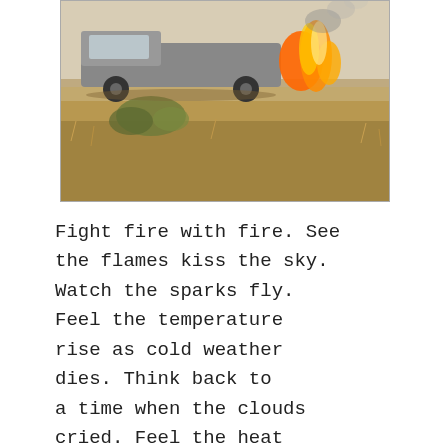[Figure (photo): A vehicle on fire in a dry, arid landscape with sparse dry grass and shrubs. Flames and smoke are visible coming from the vehicle.]
Fight fire with fire. See the flames kiss the sky. Watch the sparks fly. Feel the temperature rise as cold weather dies. Think back to a time when the clouds cried. Feel the heat rip like a baseball hitting a catcher's mitt.